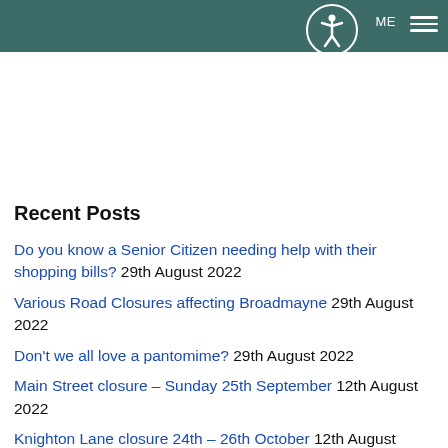MENU
Recent Posts
Do you know a Senior Citizen needing help with their shopping bills? 29th August 2022
Various Road Closures affecting Broadmayne 29th August 2022
Don't we all love a pantomime? 29th August 2022
Main Street closure – Sunday 25th September 12th August 2022
Knighton Lane closure 24th – 26th October 12th August